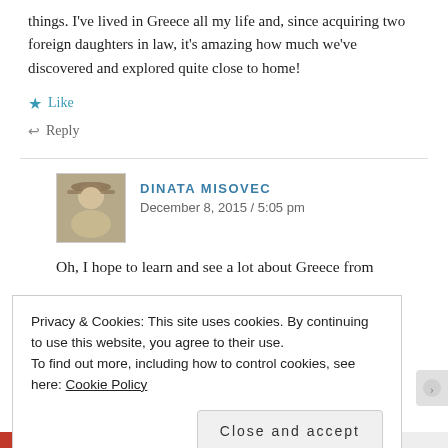things. I've lived in Greece all my life and, since acquiring two foreign daughters in law, it's amazing how much we've discovered and explored quite close to home!
★ Like
↩ Reply
DINATA MISOVEC
December 8, 2015 / 5:05 pm
Oh, I hope to learn and see a lot about Greece from
Privacy & Cookies: This site uses cookies. By continuing to use this website, you agree to their use.
To find out more, including how to control cookies, see here: Cookie Policy
Close and accept